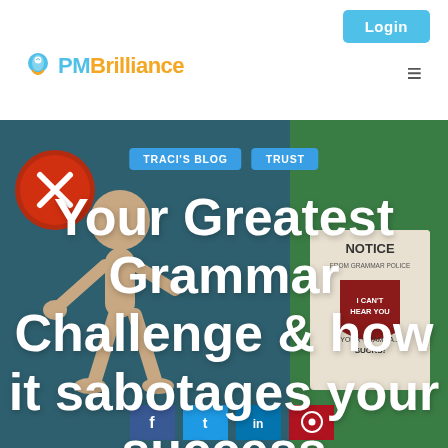[Figure (logo): PM Brilliance logo with lightbulb icon, PM in blue and Brilliance in orange]
Login
[Figure (illustration): Hero banner with dark teal/green background showing a stick figure person with speech bubbles and social media icons on left, and a notice sign reading 'YOUR GRAMMAR SUCKS!' on right]
TRACI'S BLOG
TRUST
Your Greatest Grammar Challenge & how it sabotages your success